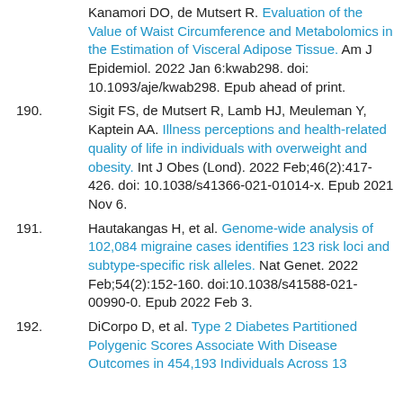Kanamori DO, de Mutsert R. Evaluation of the Value of Waist Circumference and Metabolomics in the Estimation of Visceral Adipose Tissue. Am J Epidemiol. 2022 Jan 6:kwab298. doi: 10.1093/aje/kwab298. Epub ahead of print.
190. Sigit FS, de Mutsert R, Lamb HJ, Meuleman Y, Kaptein AA. Illness perceptions and health-related quality of life in individuals with overweight and obesity. Int J Obes (Lond). 2022 Feb;46(2):417-426. doi: 10.1038/s41366-021-01014-x. Epub 2021 Nov 6.
191. Hautakangas H, et al. Genome-wide analysis of 102,084 migraine cases identifies 123 risk loci and subtype-specific risk alleles. Nat Genet. 2022 Feb;54(2):152-160. doi:10.1038/s41588-021-00990-0. Epub 2022 Feb 3.
192. DiCorpo D, et al. Type 2 Diabetes Partitioned Polygenic Scores Associate With Disease Outcomes in 454,193 Individuals Across 13